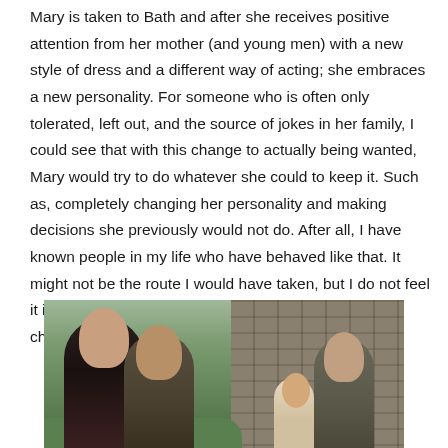Mary is taken to Bath and after she receives positive attention from her mother (and young men) with a new style of dress and a different way of acting; she embraces a new personality. For someone who is often only tolerated, left out, and the source of jokes in her family, I could see that with this change to actually being wanted, Mary would try to do whatever she could to keep it. Such as, completely changing her personality and making decisions she previously would not do. After all, I have known people in my life who have behaved like that. It might not be the route I would have taken, but I do not feel it is out of the realm of possibilities for the Austen character.
[Figure (photo): A period drama scene showing three figures - two with dark hair in the foreground and a person leaning against a stone wall in the background. The setting appears to be outdoors with greenery and a stone wall.]